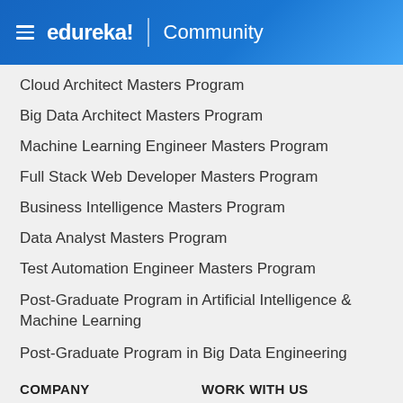edureka! | Community
Cloud Architect Masters Program
Big Data Architect Masters Program
Machine Learning Engineer Masters Program
Full Stack Web Developer Masters Program
Business Intelligence Masters Program
Data Analyst Masters Program
Test Automation Engineer Masters Program
Post-Graduate Program in Artificial Intelligence & Machine Learning
Post-Graduate Program in Big Data Engineering
COMPANY
WORK WITH US
About us
Careers
News & Media
Become an Instructor